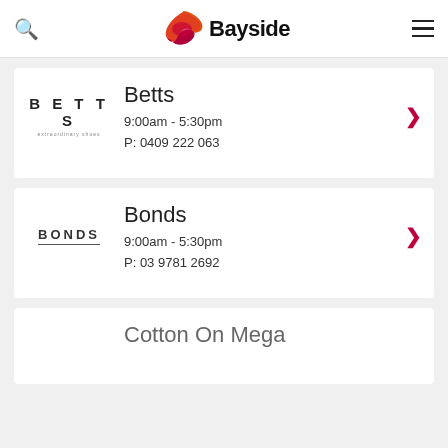Bayside
Betts
9:00am - 5:30pm
P: 0409 222 063
Bonds
9:00am - 5:30pm
P: 03 9781 2692
Cotton On Mega